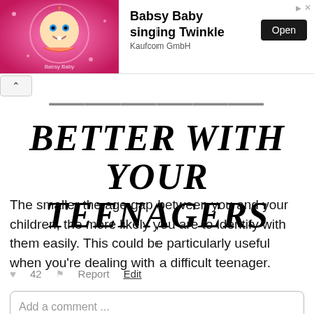[Figure (screenshot): Mobile advertisement banner for 'Babsy Baby singing Twinkle' by Kaufcom GmbH with an Open button and a cartoon baby image on a pink background.]
BETTER WITH YOUR TEENAGERS
The smaller the age gap between you and your children, the more likely you are to identify with them easily. This could be particularly useful when you’re dealing with a difficult teenager.
♥ 42   ⚑ Report   Edit
Add a comment ...